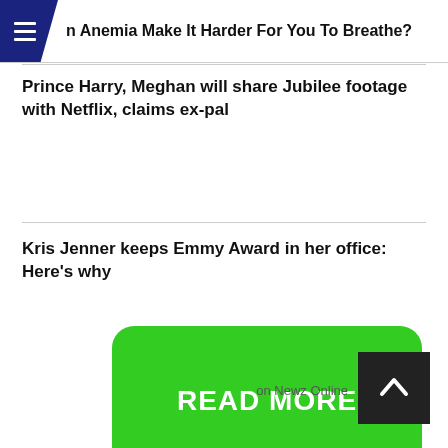n Anemia Make It Harder For You To Breathe?
Prince Harry, Meghan will share Jubilee footage with Netflix, claims ex-pal
Kris Jenner keeps Emmy Award in her office: Here’s why
[Figure (other): Green READ MORE button]
[Figure (other): Back to top arrow button]
on Newz Online